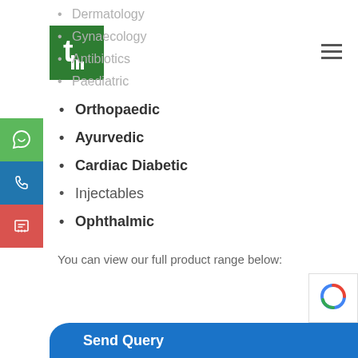[Figure (logo): Green square logo with white letter/icon]
Dermatology
Gynaecology
Antibiotics
Paediatric
Orthopaedic
Ayurvedic
Cardiac Diabetic
Injectables
Ophthalmic
You can view our full product range below: